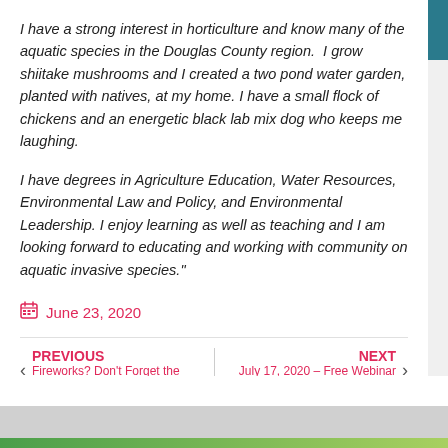I have a strong interest in horticulture and know many of the aquatic species in the Douglas County region.  I grow shiitake mushrooms and I created a two pond water garden, planted with natives, at my home. I have a small flock of chickens and an energetic black lab mix dog who keeps me laughing.
I have degrees in Agriculture Education, Water Resources, Environmental Law and Policy, and Environmental Leadership. I enjoy learning as well as teaching and I am looking forward to educating and working with community on aquatic invasive species."
June 23, 2020
PREVIOUS
Fireworks? Don't Forget the Per...
NEXT
July 17, 2020 – Free Webinar on ...